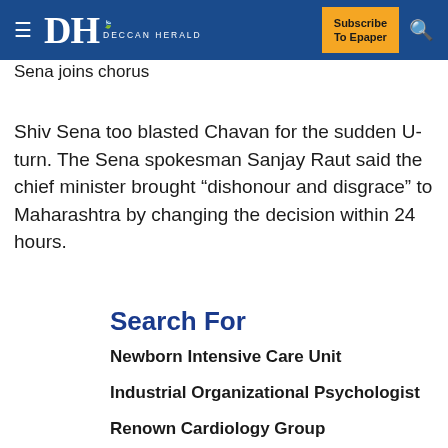DH DECCAN HERALD | Subscribe To Epaper
Sena joins chorus
Shiv Sena too blasted Chavan for the sudden U-turn. The Sena spokesman Sanjay Raut said the chief minister brought “dishonour and disgrace” to Maharashtra by changing the decision within 24 hours.
Search For
Newborn Intensive Care Unit
Industrial Organizational Psychologist
Renown Cardiology Group
Cleft Palate Repair